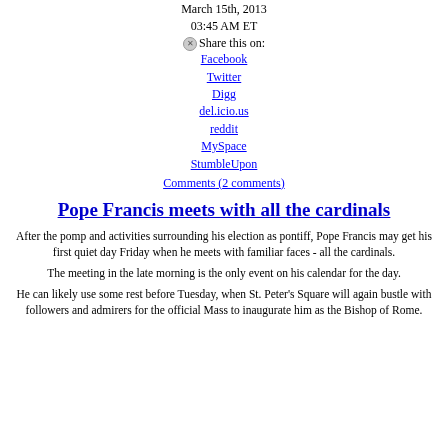March 15th, 2013
03:45 AM ET
Share this on:
Facebook
Twitter
Digg
del.icio.us
reddit
MySpace
StumbleUpon
Comments (2 comments)
Pope Francis meets with all the cardinals
After the pomp and activities surrounding his election as pontiff, Pope Francis may get his first quiet day Friday when he meets with familiar faces - all the cardinals.
The meeting in the late morning is the only event on his calendar for the day.
He can likely use some rest before Tuesday, when St. Peter's Square will again bustle with followers and admirers for the official Mass to inaugurate him as the Bishop of Rome.